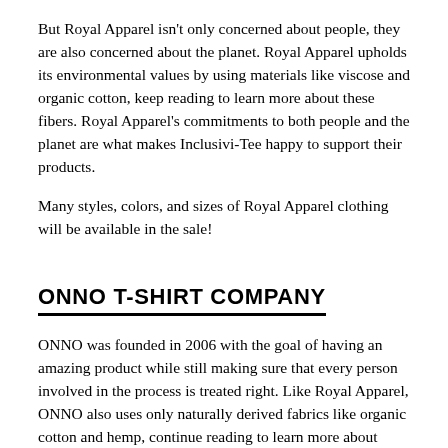But Royal Apparel isn't only concerned about people, they are also concerned about the planet. Royal Apparel upholds its environmental values by using materials like viscose and organic cotton, keep reading to learn more about these fibers. Royal Apparel's commitments to both people and the planet are what makes Inclusivi-Tee happy to support their products.
Many styles, colors, and sizes of Royal Apparel clothing will be available in the sale!
ONNO T-SHIRT COMPANY
ONNO was founded in 2006 with the goal of having an amazing product while still making sure that every person involved in the process is treated right. Like Royal Apparel, ONNO also uses only naturally derived fabrics like organic cotton and hemp, continue reading to learn more about these fabrics. This means their products are naturally biodegradable and easier on the environment. Another thing ONNO does to promote